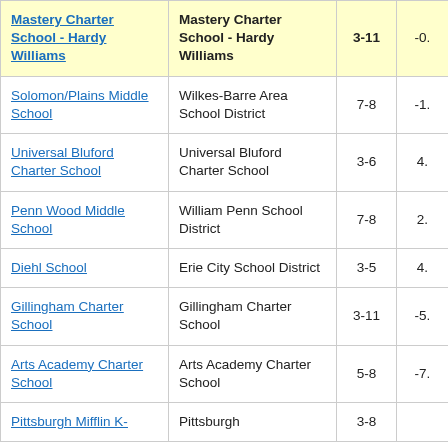| School | District/Organization | Grades | Score |
| --- | --- | --- | --- |
| Mastery Charter School - Hardy Williams | Mastery Charter School - Hardy Williams | 3-11 | -0. |
| Solomon/Plains Middle School | Wilkes-Barre Area School District | 7-8 | -1. |
| Universal Bluford Charter School | Universal Bluford Charter School | 3-6 | 4. |
| Penn Wood Middle School | William Penn School District | 7-8 | 2. |
| Diehl School | Erie City School District | 3-5 | 4. |
| Gillingham Charter School | Gillingham Charter School | 3-11 | -5. |
| Arts Academy Charter School | Arts Academy Charter School | 5-8 | -7. |
| Pittsburgh Mifflin K- | Pittsburgh | 3-8 |  |